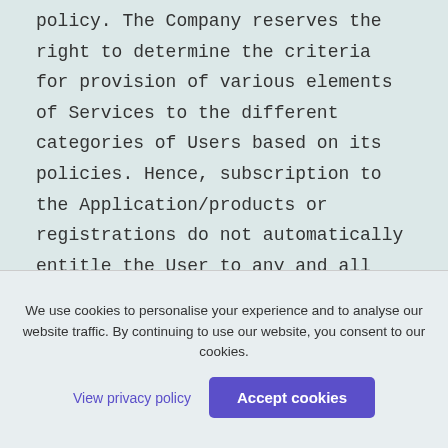policy. The Company reserves the right to determine the criteria for provision of various elements of Services to the different categories of Users based on its policies. Hence, subscription to the Application/products or registrations do not automatically entitle the User to any and all elements of Services provided by the Company and the Company shall be entitled to exercise its discretion while providing access to and determining continuity of certain elements of Services. We reserve the
We use cookies to personalise your experience and to analyse our website traffic. By continuing to use our website, you consent to our cookies.
View privacy policy
Accept cookies